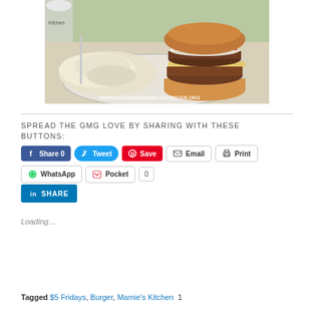[Figure (photo): A plate with a hamburger (double patty with onion and cheese on a bun) and a serving of potato salad, photographed from above on a diner table. Watermark reads WWW.GOODMORNINGGLOUCESTER.ORG]
SPREAD THE GMG LOVE BY SHARING WITH THESE BUTTONS:
[Figure (infographic): Social sharing buttons row 1: Facebook Share 0, Tweet, Pinterest Save, Email, Print]
[Figure (infographic): Social sharing buttons row 2: WhatsApp, Pocket with count 0, LinkedIn SHARE]
Loading…
Tagged $5 Fridays, Burger, Mamie's Kitchen  1